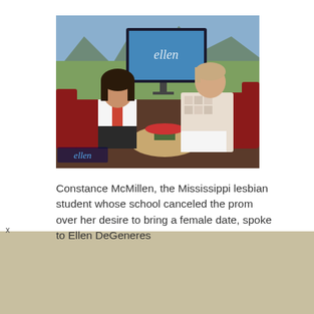[Figure (photo): Screenshot from The Ellen DeGeneres Show. Two women sit on red couches. A TV monitor in the background shows the Ellen logo. The 'ellen' logo watermark appears in the lower left of the image.]
Constance McMillen, the Mississippi lesbian student whose school canceled the prom over her desire to bring a female date, spoke to Ellen DeGeneres